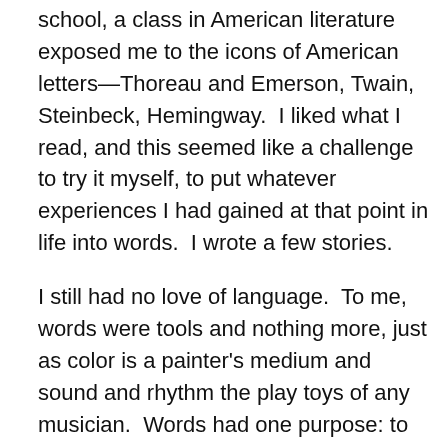school, a class in American literature exposed me to the icons of American letters—Thoreau and Emerson, Twain, Steinbeck, Hemingway.  I liked what I read, and this seemed like a challenge to try it myself, to put whatever experiences I had gained at that point in life into words.  I wrote a few stories.
I still had no love of language.  To me, words were tools and nothing more, just as color is a painter's medium and sound and rhythm the play toys of any musician.  Words had one purpose: to recreate experience on paper.  About the same time I became interested in classical music.  I may not have grown up in a literary household, but my mother was a lover of Chopin, Mozart, Tchaikovsky, and other classical composers.  My father was a professional artist, so creative streak was in the air.  As a child I dabbled in drawing, fiddling with my father's art supplies.